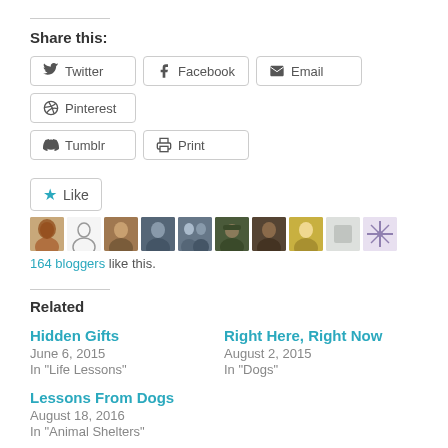Share this:
Twitter
Facebook
Email
Pinterest
Tumblr
Print
[Figure (other): Like button with star icon and 10 blogger avatar thumbnails]
164 bloggers like this.
Related
Hidden Gifts
June 6, 2015
In "Life Lessons"
Right Here, Right Now
August 2, 2015
In "Dogs"
Lessons From Dogs
August 18, 2016
In "Animal Shelters"